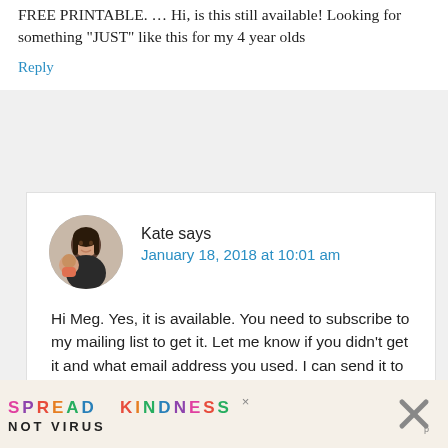FREE PRINTABLE. … Hi, is this still available! Looking for something “JUST” like this for my 4 year olds
Reply
Kate says
January 18, 2018 at 10:01 am
Hi Meg. Yes, it is available. You need to subscribe to my mailing list to get it. Let me know if you didn’t get it and what email address you used. I can send it to you.
[Figure (other): SPREAD KINDNESS NOT VIRUS advertisement banner with colorful letters and close buttons]
[Figure (photo): Circular avatar photo of Kate, a woman with dark hair smiling with a child]